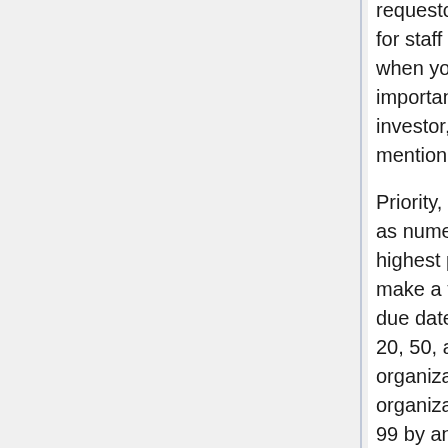requestor can use. A comment is a private note for staff not visible to the requestor. This is useful when you want to be tactful but still convey important information, like, "This requestor is an investor, so be nice" or "This user's request mentioned his 'PC' but he really has a Mac."
Priority, how important a ticket is, is represented as numerical scale from 0-99, with 99 being the highest priority. By setting a final priority, you can make a ticket's priority increase or decrease as its due date draws closer. The difference between 20, 50, and 75 may vary from organization to organization, but there should be an organizational policy or every ticket will get rated 99 by anxious users. ManualAdministration contains a useful model for setting organizational